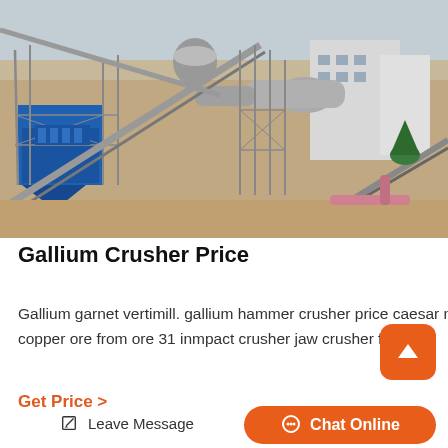[Figure (photo): Aerial view of a large industrial mining/crushing plant facility with blue machinery, conveyor belts, metal framework structures, silos, and a large rotating drum/mill, set in a dusty outdoor terrain.]
Gallium Crusher Price
Gallium garnet vertimill. gallium hammer crusher price caesar mining equipments. mobile crusher germanium chile mobile crusher copper ore from ore 31 inmpact crusher jaw crusher fin
Get Price >
Leave Message
Chat Online